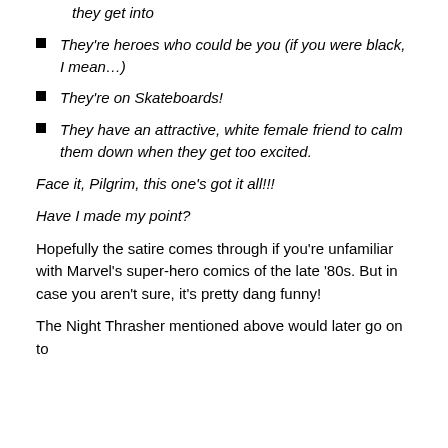they get into
They're heroes who could be you (if you were black, I mean…)
They're on Skateboards!
They have an attractive, white female friend to calm them down when they get too excited.
Face it, Pilgrim, this one's got it all!!!
Have I made my point?
Hopefully the satire comes through if you're unfamiliar with Marvel's super-hero comics of the late '80s. But in case you aren't sure, it's pretty dang funny!
The Night Thrasher mentioned above would later go on to